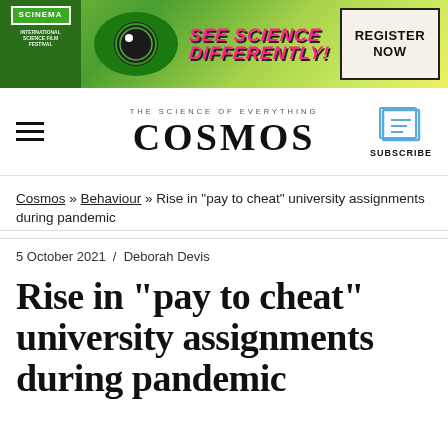[Figure (illustration): Scinema International Science Film Festival banner ad with green background showing a large eye, colorful 'See Science Differently!' text in pink, and a 'Register Now' box on the right]
THE SCIENCE OF EVERYTHING
COSMOS
SUBSCRIBE
Cosmos » Behaviour » Rise in “pay to cheat” university assignments during pandemic
5 October 2021  /  Deborah Devis
Rise in “pay to cheat” university assignments during pandemic